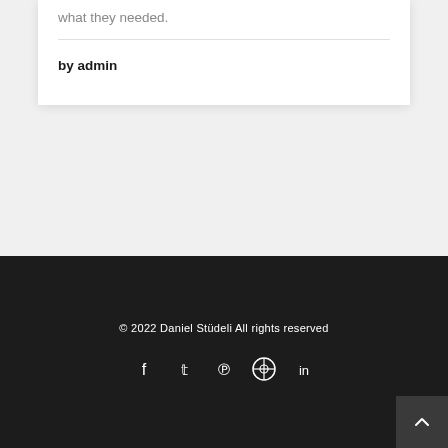what they needed.
by admin
© 2022 Daniel Stüdeli All rights reserved